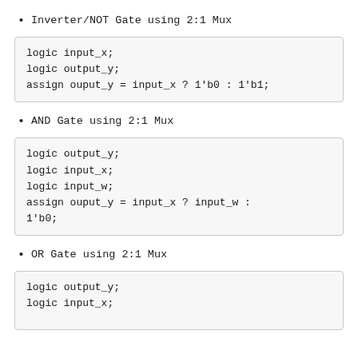Inverter/NOT Gate using 2:1 Mux
logic input_x;
logic output_y;
assign ouput_y = input_x ? 1'b0 : 1'b1;
AND Gate using 2:1 Mux
logic output_y;
logic input_x;
logic input_w;
assign ouput_y = input_x ? input_w :
1'b0;
OR Gate using 2:1 Mux
logic output_y;
logic input_x;